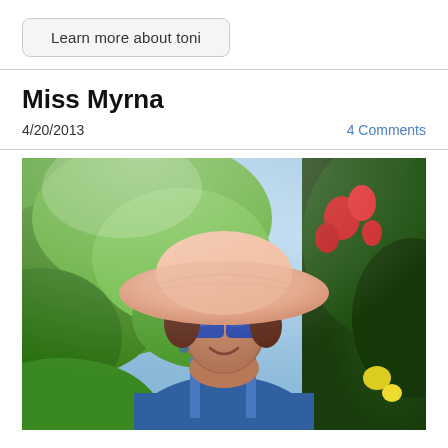Learn more about toni
Miss Myrna
4/20/2013
4 Comments
[Figure (photo): Woman wearing a pink wide-brim hat and blue sunglasses, smiling, outdoors with green tropical foliage and red flowers in the background, wearing a blue tank top.]